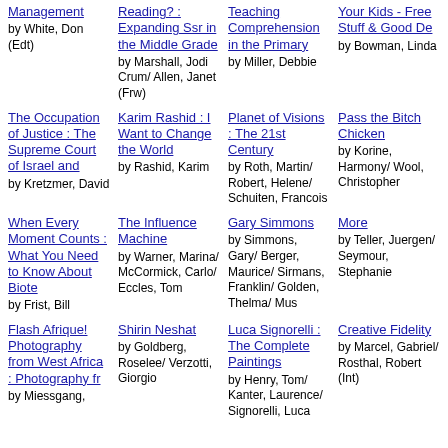Management by White, Don (Edt)
Reading? : Expanding Ssr in the Middle Grade by Marshall, Jodi Crum/ Allen, Janet (Frw)
Teaching Comprehension in the Primary by Miller, Debbie
Your Kids - Free Stuff & Good De by Bowman, Linda
The Occupation of Justice : The Supreme Court of Israel and by Kretzmer, David
Karim Rashid : I Want to Change the World by Rashid, Karim
Planet of Visions : The 21st Century by Roth, Martin/ Robert, Helene/ Schuiten, Francois
Pass the Bitch Chicken by Korine, Harmony/ Wool, Christopher
When Every Moment Counts : What You Need to Know About Biote by Frist, Bill
The Influence Machine by Warner, Marina/ McCormick, Carlo/ Eccles, Tom
Gary Simmons by Simmons, Gary/ Berger, Maurice/ Sirmans, Franklin/ Golden, Thelma/ Mus
More by Teller, Juergen/ Seymour, Stephanie
Flash Afrique! Photography from West Africa : Photography fr by Miessgang,
Shirin Neshat by Goldberg, Roselee/ Verzotti, Giorgio
Luca Signorelli : The Complete Paintings by Henry, Tom/ Kanter, Laurence/ Signorelli, Luca
Creative Fidelity by Marcel, Gabriel/ Rosthal, Robert (Int)